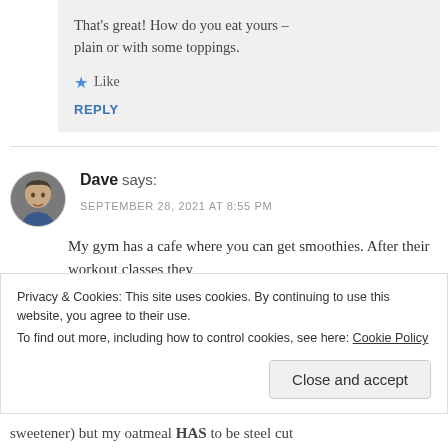That's great! How do you eat yours – plain or with some toppings.
★ Like
REPLY
Dave says:
SEPTEMBER 28, 2021 AT 8:55 PM
My gym has a cafe where you can get smoothies. After their workout classes they
Privacy & Cookies: This site uses cookies. By continuing to use this website, you agree to their use.
To find out more, including how to control cookies, see here: Cookie Policy
Close and accept
sweetener) but my oatmeal HAS to be steel cut